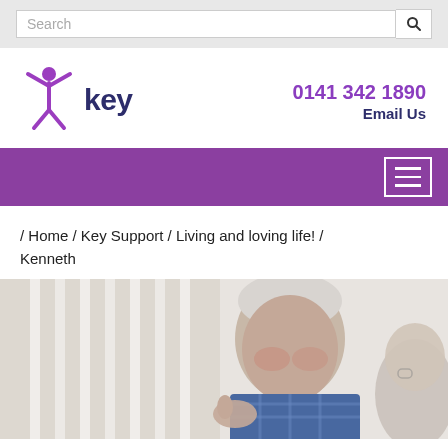Search
[Figure (logo): Key support organisation logo with purple figure arms raised and 'key' text in dark navy]
0141 342 1890
Email Us
[Figure (other): Purple navigation bar with hamburger menu icon (three white lines in white border box)]
/ Home / Key Support / Living and loving life! / Kenneth
[Figure (photo): Photo of an elderly man with white/grey hair wearing a blue checked shirt, talking and gesturing with hands, with another person partially visible in the foreground right]